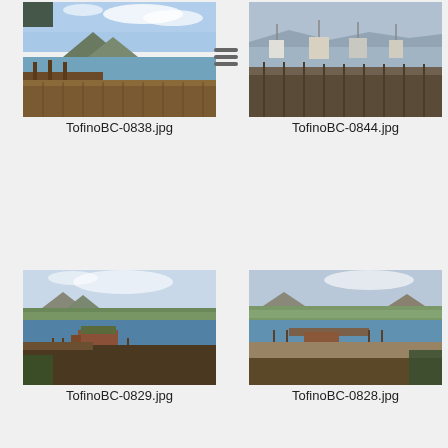[Figure (photo): Photograph of Tofino BC harbor/dock area with mountains and blue sky, wooden pier in foreground]
TofinoBC-0838.jpg
[Figure (photo): Photograph of Tofino BC marina with multiple boats and dock structures, calm water]
TofinoBC-0844.jpg
[Figure (photo): Photograph of Tofino BC bay with mountains, forested shoreline, and waterfront buildings]
TofinoBC-0829.jpg
[Figure (photo): Photograph of Tofino BC bay at low tide with dock, mountains in background]
TofinoBC-0828.jpg